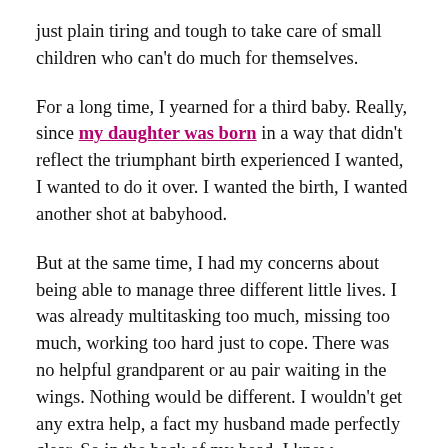just plain tiring and tough to take care of small children who can't do much for themselves.
For a long time, I yearned for a third baby. Really, since my daughter was born in a way that didn't reflect the triumphant birth experienced I wanted, I wanted to do it over. I wanted the birth, I wanted another shot at babyhood.
But at the same time, I had my concerns about being able to manage three different little lives. I was already multitasking too much, missing too much, working too hard just to cope. There was no helpful grandparent or au pair waiting in the wings. Nothing would be different. I wouldn't get any extra help, a fact my husband made perfectly clear. So in the back of my head, I knew something huge would have to shift for me to manage a third child, and it would have to happen in a timely manner.
It did not. It still makes me a little sad that my kids won't have